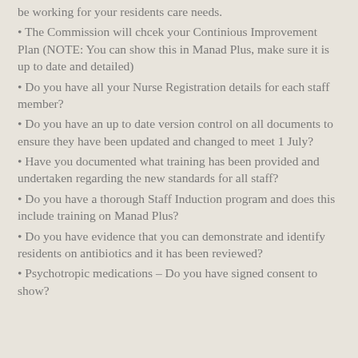be working for your residents care needs.
The Commission will chcek your Continious Improvement Plan (NOTE: You can show this in Manad Plus, make sure it is up to date and detailed)
Do you have all your Nurse Registration details for each staff member?
Do you have an up to date version control on all documents to ensure they have been updated and changed to meet 1 July?
Have you documented what training has been provided and undertaken regarding the new standards for all staff?
Do you have a thorough Staff Induction program and does this include training on Manad Plus?
Do you have evidence that you can demonstrate and identify residents on antibiotics and it has been reviewed?
Psychotropic medications – Do you have signed consent to show?